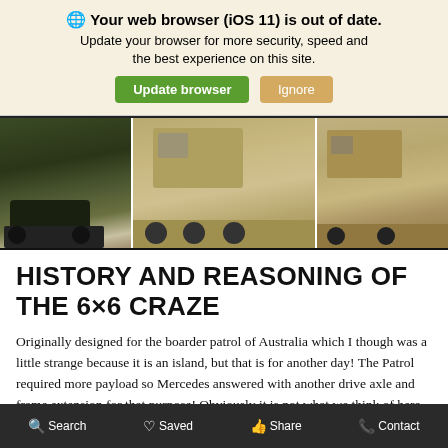🌐 Your web browser (iOS 11) is out of date. Update your browser for more security, speed and the best experience on this site. [Update browser] [Ignore]
[Figure (photo): Three military 6x6 vehicles side by side: a dark amphibious vehicle on the left, a large tan military truck in the center, and a smaller tan military jeep-style vehicle on the right.]
HISTORY AND REASONING OF THE 6×6 CRAZE
Originally designed for the boarder patrol of Australia which I though was a little strange because it is an island, but that is for another day! The Patrol required more payload so Mercedes answered with another drive axle and frame extension for that purpose! Obviously it is not what we think of here today in the US and it certainly does not look as cool, but it serves it's purpose and that has continued on in newer versions.
Search   Saved   Share   Contact